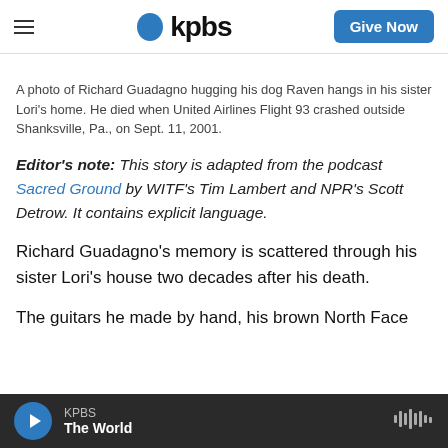kpbs | Give Now
A photo of Richard Guadagno hugging his dog Raven hangs in his sister Lori's home. He died when United Airlines Flight 93 crashed outside Shanksville, Pa., on Sept. 11, 2001.
Editor's note: This story is adapted from the podcast Sacred Ground by WITF's Tim Lambert and NPR's Scott Detrow. It contains explicit language.
Richard Guadagno's memory is scattered through his sister Lori's house two decades after his death.
The guitars he made by hand, his brown North Face
KPBS The World